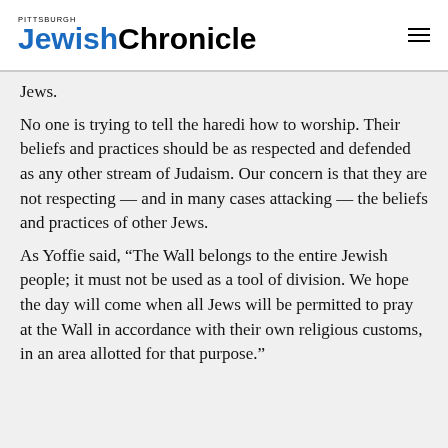Pittsburgh JewishChronicle
Jews.
No one is trying to tell the haredi how to worship. Their beliefs and practices should be as respected and defended as any other stream of Judaism. Our concern is that they are not respecting — and in many cases attacking — the beliefs and practices of other Jews.
As Yoffie said, “The Wall belongs to the entire Jewish people; it must not be used as a tool of division. We hope the day will come when all Jews will be permitted to pray at the Wall in accordance with their own religious customs, in an area allotted for that purpose.”